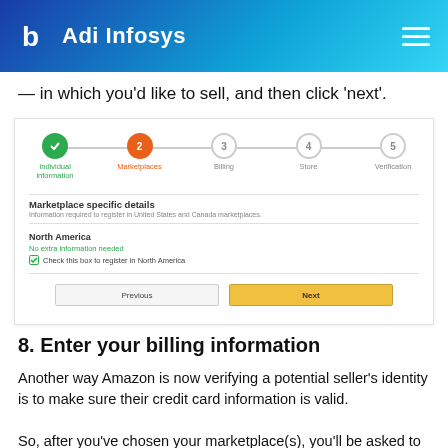Adi Infosys
— in which you'd like to sell, and then click 'next'.
[Figure (screenshot): Amazon seller registration step wizard showing step 1 (Individual information, completed/green), step 2 (Marketplaces, active/orange), step 3 (Billing), step 4 (Store), step 5 (Verification). Below the wizard: Marketplace specific details section with 'Information required to register in United States and Canada marketplaces.' North America section shows 'No extra information needed' in green and a checked checkbox 'Check this box to register in North America'. Previous and Next buttons at the bottom.]
8. Enter your billing information
Another way Amazon is now verifying a potential seller's identity is to make sure their credit card information is valid.
So, after you've chosen your marketplace(s), you'll be asked to enter in the number and expiration